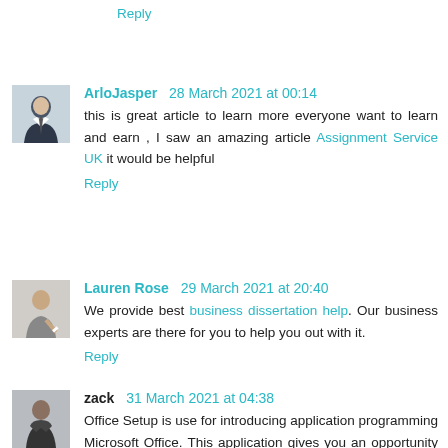Reply
ArloJasper 28 March 2021 at 00:14
this is great article to learn more everyone want to learn and earn , I saw an amazing article Assignment Service UK it would be helpful
Reply
Lauren Rose 29 March 2021 at 20:40
We provide best business dissertation help. Our business experts are there for you to help you out with it.
Reply
zack 31 March 2021 at 04:38
Office Setup is use for introducing application programming Microsoft Office. This application gives you an opportunity to hi your next Word, Excel convention, machine